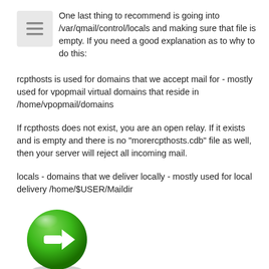One last thing to recommend is going into /var/qmail/control/locals and making sure that file is empty. If you need a good explanation as to why to do this:
rcpthosts is used for domains that we accept mail for - mostly used for vpopmail virtual domains that reside in /home/vpopmail/domains
If rcpthosts does not exist, you are an open relay. If it exists and is empty and there is no "morercpthosts.cdb" file as well, then your server will reject all incoming mail.
locals - domains that we deliver locally - mostly used for local delivery /home/$USER/Maildir
[Figure (illustration): Green circular button with a white right-pointing arrow icon]
...................................